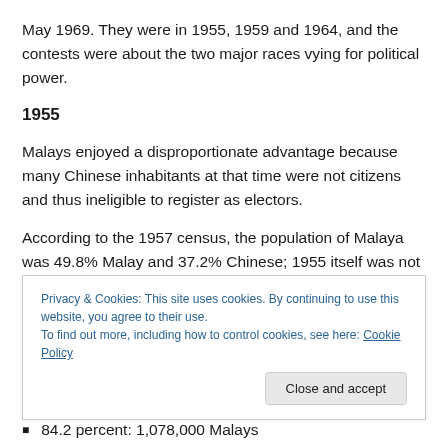May 1969. They were in 1955, 1959 and 1964, and the contests were about the two major races vying for political power.
1955
Malays enjoyed a disproportionate advantage because many Chinese inhabitants at that time were not citizens and thus ineligible to register as electors.
According to the 1957 census, the population of Malaya was 49.8% Malay and 37.2% Chinese; 1955 itself was not
Privacy & Cookies: This site uses cookies. By continuing to use this website, you agree to their use.
To find out more, including how to control cookies, see here: Cookie Policy
84.2 percent: 1,078,000 Malays